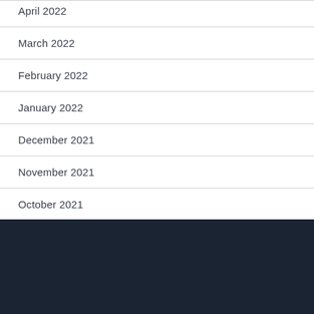April 2022
March 2022
February 2022
January 2022
December 2021
November 2021
October 2021